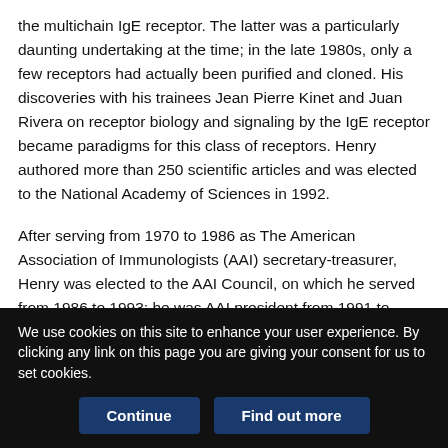the multichain IgE receptor. The latter was a particularly daunting undertaking at the time; in the late 1980s, only a few receptors had actually been purified and cloned. His discoveries with his trainees Jean Pierre Kinet and Juan Rivera on receptor biology and signaling by the IgE receptor became paradigms for this class of receptors. Henry authored more than 250 scientific articles and was elected to the National Academy of Sciences in 1992.

After serving from 1970 to 1986 as The American Association of Immunologists (AAI) secretary-treasurer, Henry was elected to the AAI Council, on which he served from 1986 to 1993; he was AAI president from 1991 to 1992. Henry's AAI service also included appointments as a member and chair of the AAI
We use cookies on this site to enhance your user experience. By clicking any link on this page you are giving your consent for us to set cookies.
Continue
Find out more